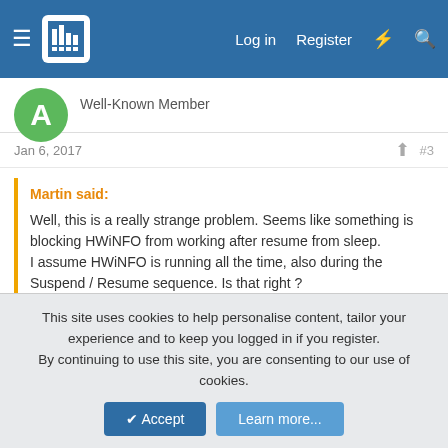Log in  Register
Well-Known Member
Jan 6, 2017  #3
Martin said:
Well, this is a really strange problem. Seems like something is blocking HWiNFO from working after resume from sleep.
I assume HWiNFO is running all the time, also during the Suspend / Resume sequence. Is that right ?
You might try to activate sensor logging and then check the log of see if it has been reporting data during the period when monitor was not active. Please let me know the results.
Also attaching the HWiNFO... Debug/Filer options also created during
Click to expand...
This site uses cookies to help personalise content, tailor your experience and to keep you logged in if you register.
By continuing to use this site, you are consenting to our use of cookies.